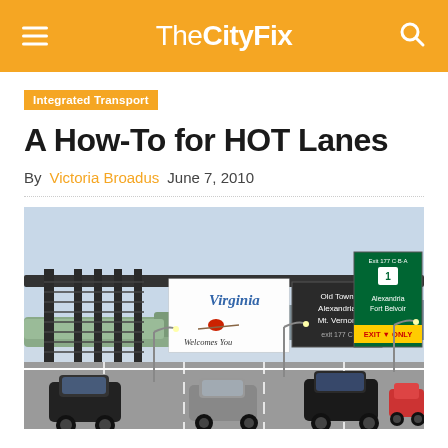TheCityFix
Integrated Transport
A How-To for HOT Lanes
By Victoria Broadus   June 7, 2010
[Figure (photo): Highway overpass with road signs: 'Virginia Welcomes You' sign with a cardinal bird, directional signs for Old Town Alexandria / Mt. Vernon (exit 177C) and Alexandria / Fort Belvoir (Exit Only, exit 177 C-B-A, Route 1). Multiple cars visible on a multi-lane highway. Urban skyline in background.]